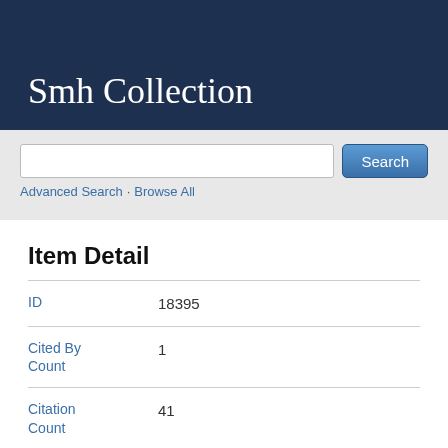Smh Collection
Search
Advanced Search · Browse All
Item Detail
| Field | Value |
| --- | --- |
| ID | 18395 |
| Cited By Count | 1 |
| Citation Count | 41 |